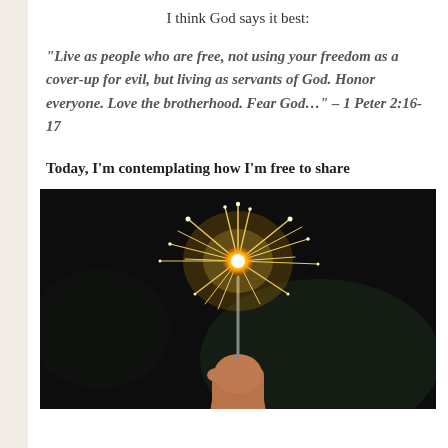I think God says it best:
“Live as people who are free, not using your freedom as a cover-up for evil, but living as servants of God. Honor everyone. Love the brotherhood. Fear God...” – 1 Peter 2:16-17
Today, I’m contemplating how I’m free to share
[Figure (photo): A hand holding a lit sparkler against a dark blurred background, with golden sparks flying upward.]